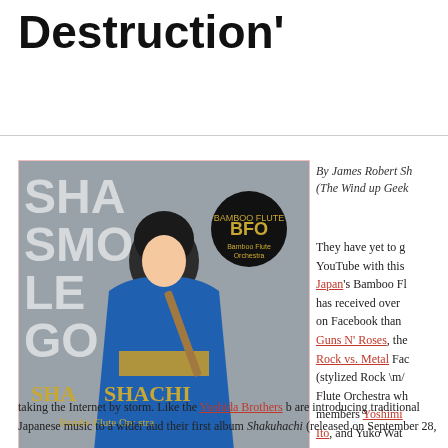Destruction'
[Figure (photo): Album cover for Shakuhachi Bamboo Flute Orchestra showing a woman in a blue kimono holding a shakuhachi flute, with stylized text overlay]
By James Robert Sh (The Wind up Geek
They have yet to go YouTube with this Japan's Bamboo Fl has received over on Facebook than Guns N' Roses, the Rock vs. Metal Fac (stylized Rock \m/ Flute Orchestra wh members Yoshimi Ito, and Yuko Wat taking the Internet by storm. Like the Yoshida Brothers b are introducing traditional Japanese music to a wider aud their first album Shakuhachi (released on September 28,